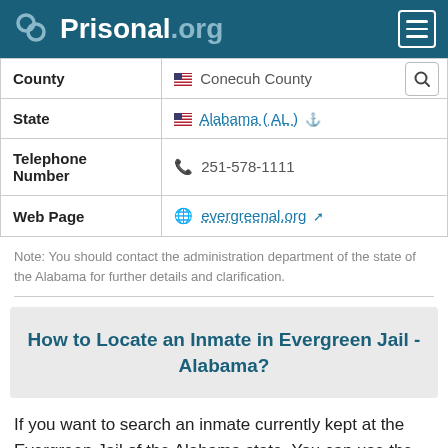Prisonal.org
| Field | Value |
| --- | --- |
| County | 🏴 Conecuh County |
| State | 🏴 Alabama ( AL ) 🔗 |
| Telephone Number | 📞 251-578-1111 |
| Web Page | 🌐 evergreenal.org 🔗 |
Note: You should contact the administration department of the state of the Alabama for further details and clarification.
How to Locate an Inmate in Evergreen Jail - Alabama?
If you want to search an inmate currently kept at the Evergreen Jail of the Alabama state. You can use the